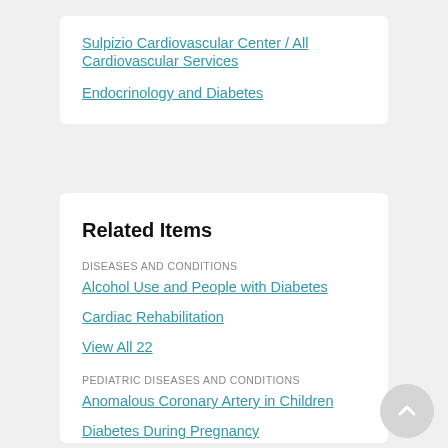Sulpizio Cardiovascular Center / All Cardiovascular Services
Endocrinology and Diabetes
Related Items
DISEASES AND CONDITIONS
Alcohol Use and People with Diabetes
Cardiac Rehabilitation
View All 22
PEDIATRIC DISEASES AND CONDITIONS
Anomalous Coronary Artery in Children
Diabetes During Pregnancy